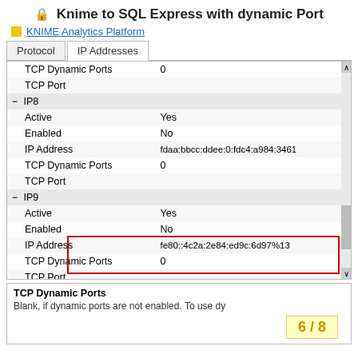Knime to SQL Express with dynamic Port
KNIME Analytics Platform
[Figure (screenshot): IP Addresses tab of a TCP/IP configuration panel showing properties: TCP Dynamic Ports (0), TCP Port, IP8 group (Active: Yes, Enabled: No, IP Address: fdaa:bbcc:ddee:0:fdc4:a984:3461, TCP Dynamic Ports: 0, TCP Port), IP9 group (Active: Yes, Enabled: No, IP Address: fe80::4c2a:2e84:ed9c:6d97%13, TCP Dynamic Ports: 0, TCP Port), IPAll group (highlighted in red: IPAll, TCP Dynamic Ports: 59089), TCP Port. Bottom info box: TCP Dynamic Ports - Blank, if dynamic ports are not enabled. To use dy...]
TCP Dynamic Ports
Blank, if dynamic ports are not enabled. To use dy
6 / 8